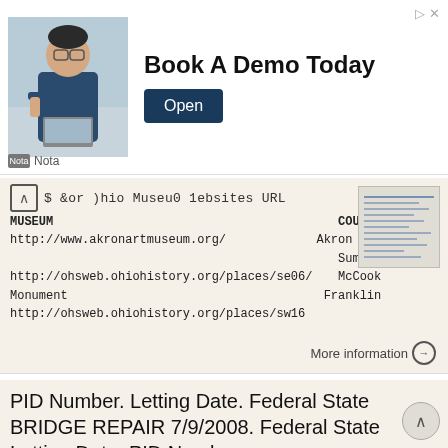[Figure (photo): Advertisement banner: man in glasses in office setting, 'Book A Demo Today' text, Open button, Nota branding]
| MUSEUM | COUNTY | URL |
| --- | --- | --- |
| Akron Art | Summit | http://www.akronartmuseum.org/ |
| McCook Monument | Franklin | http://ohsweb.ohiohistory.org/places/se06/ |
|  |  | http://ohsweb.ohiohistory.org/places/sw16 |
More information →
PID Number. Letting Date. Federal State BRIDGE REPAIR 7/9/2008. Federal State Letting Date. PID Number
080435 NO BIDS Montgomery IR-75-18.32
83187 BRIDGE REPAIR 9/30/2008 No Bids